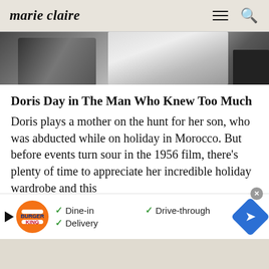marie claire
[Figure (photo): Black and white photo strip showing partial view of a person in white clothing, cropped at the top of the page.]
Doris Day in The Man Who Knew Too Much
Doris plays a mother on the hunt for her son, who was abducted while on holiday in Morocco. But before events turn sour in the 1956 film, there’s plenty of time to appreciate her incredible holiday wardrobe and this
[Figure (other): Burger King advertisement banner with logo, checkmarks for Dine-in, Drive-through, Delivery, and a blue directional arrow sign.]